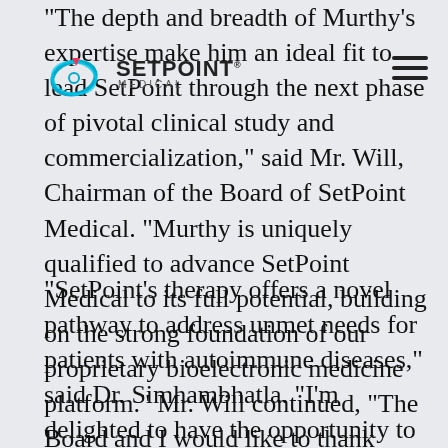[Figure (logo): SetPoint Medical logo with circular swoosh icon and hamburger menu icon in top right]
"The depth and breadth of Murthy's expertise make him an ideal fit to lead SetPoint through the next phase of pivotal clinical study and commercialization," said Mr. Will, Chairman of the Board of SetPoint Medical. "Murthy is uniquely qualified to advance SetPoint Medical to its full potential, building on the strong foundation of our proprietary bioelectronic medicine platform." Mr. Will continued, "The Board and I would like to thank Tony for successfully leading the development of SetPoint's proprietary device and advancing it through a U.S. first-in-human study. We wish Tony continued success in his next endeavor."
"SetPoint's therapy offers a novel pathway to address unmet needs for patients with autoimmune diseases," said Dr. Simhambhatla. "I'm delighted to have the opportunity to lead SetPoint and to work with its innovative team to develop and commercialize our therapy for patients with autoimmune diseases."